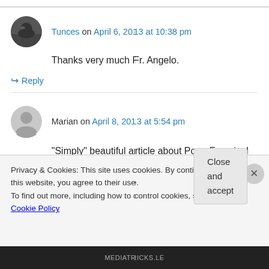Tunces on April 6, 2013 at 10:38 pm
Thanks very much Fr. Angelo.
↪ Reply
Marian on April 8, 2013 at 5:54 pm
“Simply” beautiful article about Pope Francis. I
Privacy & Cookies: This site uses cookies. By continuing to use this website, you agree to their use.
To find out more, including how to control cookies, see here: Cookie Policy
Close and accept